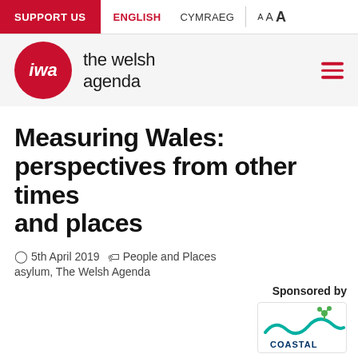SUPPORT US | ENGLISH | CYMRAEG | A A A
[Figure (logo): IWA logo — red circle with white 'iwa' text, next to 'the welsh agenda' site name, with red hamburger menu icon on the right]
Measuring Wales: perspectives from other times and places
5th April 2019  People and Places  asylum, The Welsh Agenda
Sponsored by
[Figure (logo): Coastal Housing Group logo]